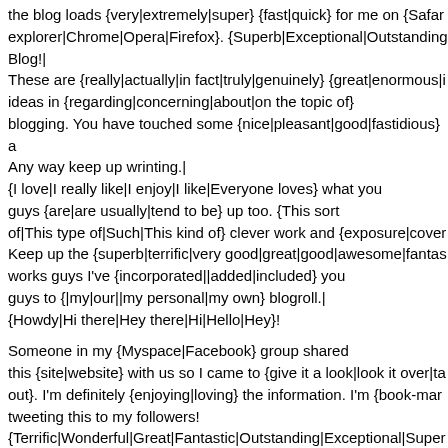the blog loads {very|extremely|super} {fast|quick} for me on {Safari|explorer|Chrome|Opera|Firefox}. {Superb|Exceptional|Outstanding} Blog!|
These are {really|actually|in fact|truly|genuinely} {great|enormous|i ideas in {regarding|concerning|about|on the topic of} blogging. You have touched some {nice|pleasant|good|fastidious} a Any way keep up wrinting.|
{I love|I really like|I enjoy|I like|Everyone loves} what you guys {are|are usually|tend to be} up too. {This sort of|This type of|Such|This kind of} clever work and {exposure|cover Keep up the {superb|terrific|very good|great|good|awesome|fantas works guys I've {incorporated||added|included} you guys to {|my|our||my personal|my own} blogroll.|
{Howdy|Hi there|Hey there|Hi|Hello|Hey}!
Someone in my {Myspace|Facebook} group shared this {site|website} with us so I came to {give it a look|look it over|ta out}. I'm definitely {enjoying|loving} the information. I'm {book-mar tweeting this to my followers! {Terrific|Wonderful|Great|Fantastic|Outstanding|Exceptional|Super and {wonderful|terrific|brilliant|amazing|great|excellent|fantastic|ou design|design and style|design}.|
{I love|I really like|I enjoy|I like|Everyone loves} what you guys {are